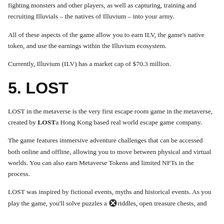fighting monsters and other players, as well as capturing, training and recruiting Illuvials – the natives of Illuvium – into your army.
All of these aspects of the game allow you to earn ILV, the game's native token, and use the earnings within the Illuvium ecosystem.
Currently, Illuvium (ILV) has a market cap of $70.3 million.
5. LOST
LOST in the metaverse is the very first escape room game in the metaverse, created by LOST a Hong Kong based real world escape game company.
The game features immersive adventure challenges that can be accessed both online and offline, allowing you to move between physical and virtual worlds. You can also earn Metaverse Tokens and limited NFTs in the process.
LOST was inspired by fictional events, myths and historical events. As you play the game, you'll solve puzzles and riddles, open treasure chests, and